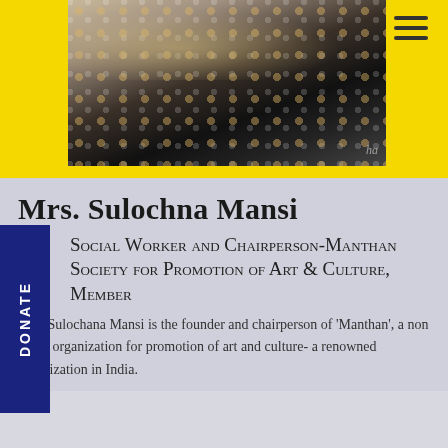[Figure (photo): A woman wearing a sparkly/sequined outfit with honeycomb-pattern embellishments, photograph with watermark 'ha']
Mrs. Sulochna Mansi
Social Worker and Chairperson-Manthan Society for Promotion of Art & Culture, Member
Mrs. Sulochana Mansi is the founder and chairperson of 'Manthan', a non profit organization for promotion of art and culture- a renowned organization in India.